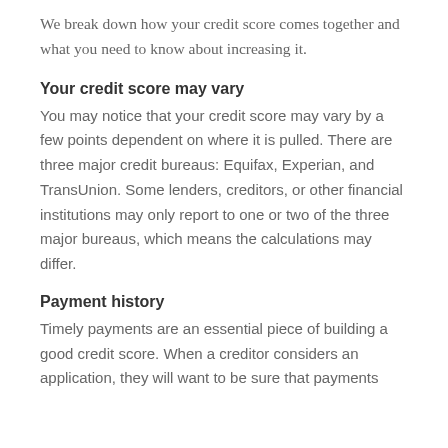We break down how your credit score comes together and what you need to know about increasing it.
Your credit score may vary
You may notice that your credit score may vary by a few points dependent on where it is pulled. There are three major credit bureaus: Equifax, Experian, and TransUnion. Some lenders, creditors, or other financial institutions may only report to one or two of the three major bureaus, which means the calculations may differ.
Payment history
Timely payments are an essential piece of building a good credit score. When a creditor considers an application, they will want to be sure that payments